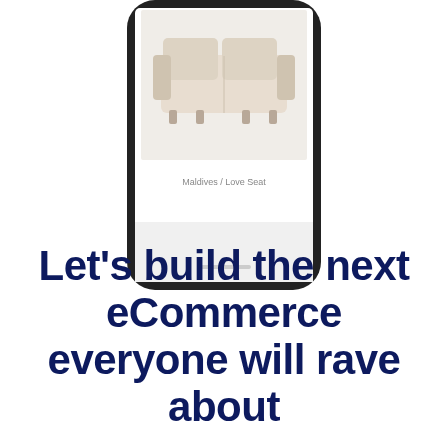[Figure (screenshot): Bottom portion of a smartphone mockup showing a furniture product page with a sofa image labeled 'Maldives / Love Seat']
Let's build the next eCommerce everyone will rave about